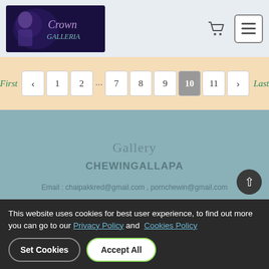[Figure (logo): Crown Galleria logo with decorative text on dark purple/blue background]
[Figure (infographic): Pagination control showing First, arrow left, 1, 2, ..., 7, 8, 9, 10 (active/highlighted), 11, arrow right, Last on peach/tan background]
Gallery
CHEWINGALLAPA
Email : chaipakkred@gmail.com , pornchewin@gmail.com
[Figure (logo): DBD Registered logo - purple bold DBD text with orange/yellow stripe underneath, and Registered text below]
This website uses cookies for best user experience, to find out more you can go to our Privacy Policy and Cookies Policy
Set Cookies   Accept All